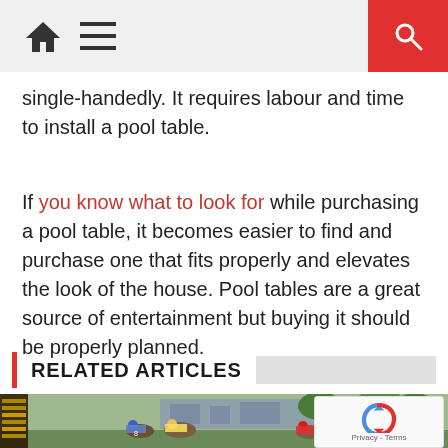navigation bar with home, menu, and search icons
single-handedly. It requires labour and time to install a pool table.
If you know what to look for while purchasing a pool table, it becomes easier to find and purchase one that fits properly and elevates the look of the house. Pool tables are a great source of entertainment but buying it should be properly planned.
RELATED ARTICLES
[Figure (photo): Horse racing photo showing jockeys racing on a track with a building and trees in the background, with a reCAPTCHA overlay in the bottom right corner.]